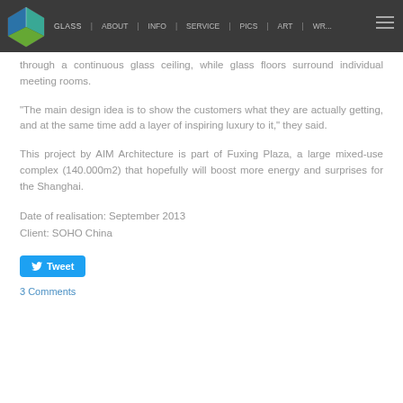GLASS | about | info | service | pics | art | wr...
through a continuous glass ceiling, while glass floors surround individual meeting rooms.
"The main design idea is to show the customers what they are actually getting, and at the same time add a layer of inspiring luxury to it," they said.
This project by AIM Architecture is part of Fuxing Plaza, a large mixed-use complex (140.000m2) that hopefully will boost more energy and surprises for the Shanghai.
Date of realisation: September 2013
Client: SOHO China
Tweet
3 Comments